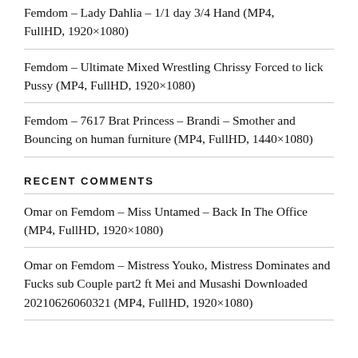Femdom – Lady Dahlia – 1/1 day 3/4 Hand (MP4, FullHD, 1920×1080)
Femdom – Ultimate Mixed Wrestling Chrissy Forced to lick Pussy (MP4, FullHD, 1920×1080)
Femdom – 7617 Brat Princess – Brandi – Smother and Bouncing on human furniture (MP4, FullHD, 1440×1080)
RECENT COMMENTS
Omar on Femdom – Miss Untamed – Back In The Office (MP4, FullHD, 1920×1080)
Omar on Femdom – Mistress Youko, Mistress Dominates and Fucks sub Couple part2 ft Mei and Musashi Downloaded 20210626060321 (MP4, FullHD, 1920×1080)